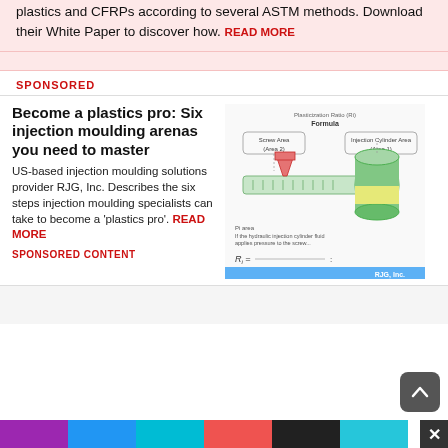plastics and CFRPs according to several ASTM methods. Download their White Paper to discover how. READ MORE
SPONSORED
Become a plastics pro: Six injection moulding arenas you need to master
US-based injection moulding solutions provider RJG, Inc. Describes the six steps injection moulding specialists can take to become a 'plastics pro'. READ MORE
[Figure (schematic): Injection moulding schematic diagram showing Screw Area (Area 2) and Injection Cylinder Area (Area 1), with a formula for Ri and a blue RJG, Inc. banner.]
SPONSORED CONTENT